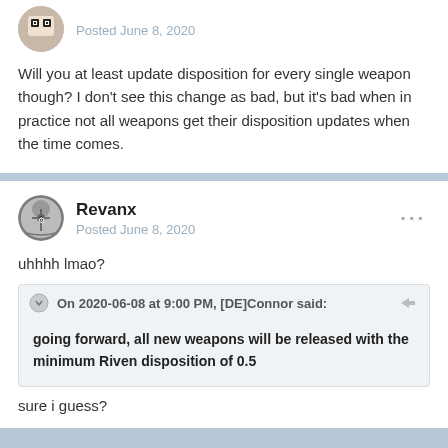Posted June 8, 2020
Will you at least update disposition for every single weapon though? I don't see this change as bad, but it's bad when in practice not all weapons get their disposition updates when the time comes.
Revanx
Posted June 8, 2020
uhhhh lmao?
On 2020-06-08 at 9:00 PM, [DE]Connor said:
going forward, all new weapons will be released with the minimum Riven disposition of 0.5
sure i guess?